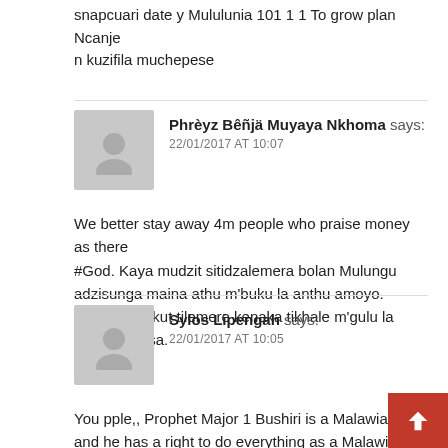snapcuari date y Mululunia 101 1 1 To grow plan Ncanje n kuzifila muchepese
Phrèyz Bêñjä Muyaya Nkhoma says:
22/01/2017 AT 10:07

We better stay away 4m people who praise money as there
#God. Kaya mudzit sitidzalemera bolan Mulungu adzisunga maina athu m'buku la anthu amoyo. Kusiyana mkut tilemere kenaka tikhale m'gulu la anthu okapsa.
Sylos Lipengah says:
22/01/2017 AT 10:05

You pple,, Prophet Major 1 Bushiri is a Malawian citiz and he has a right to do everything as a Malawian Citizen Chonde Osamasewera Ndi Anthu Amulungu,,